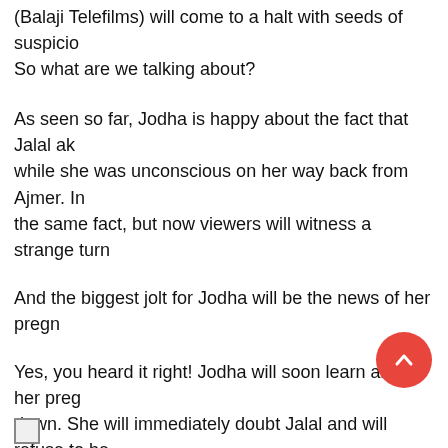(Balaji Telefilms) will come to a halt with seeds of suspicio...
So what are we talking about?
As seen so far, Jodha is happy about the fact that Jalal ak... while she was unconscious on her way back from Ajmer. In... the same fact, but now viewers will witness a strange turn...
And the biggest jolt for Jodha will be the news of her pregn...
Yes, you heard it right! Jodha will soon learn about her preg... down. She will immediately doubt Jalal and will refuse to be... go on to confront him, but Jalal too will be shocked to know... drama with Jalal starting to doubt Jodha, wherein he will a... another man.
Paridhi refused to comment on the same.
Let's see how this pregnancy drama will entice the...end... Jalal to save the day for Jodha in Zee TV's Jodha Akbar!